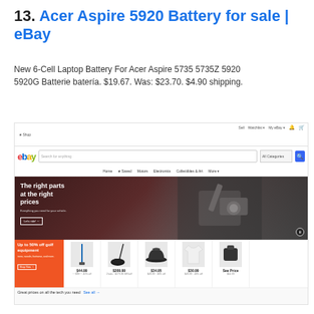13. Acer Aspire 5920 Battery for sale | eBay
New 6-Cell Laptop Battery For Acer Aspire 5735 5735Z 5920 5920G Batterie batería. $19.67. Was: $23.70. $4.90 shipping.
[Figure (screenshot): Screenshot of eBay homepage showing the eBay logo, search bar, navigation links, a hero banner reading 'The right parts at the right prices — Everything you need for your vehicle. Let's ride!' and a promotional section 'Up to 50% off golf equipment' with product listings including a golf club at $44.99, a driver at $209.99, a hat at $34.95, a shirt at $30.99, and 'See Price'. Bottom text reads 'Great prices on all the tech you need — See all →']